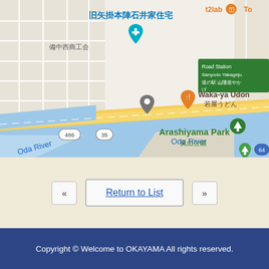[Figure (map): Google Maps screenshot showing Oda River area in Yakage, Okayama, Japan. Shows landmarks: 旧矢掛本陣石井家住宅, 備中西商工会, Waka-ya Udon 若屋うどん, Arashiyama Park 嵐山公園, Road Station Sanyodo Yakageju 道の駅 山陽道やかげ, t2lab. Roads 486 and 35 visible. Oda River shown in blue.]
«
Return to List
»
Copyright © Welcome to OKAYAMA All rights reserved.